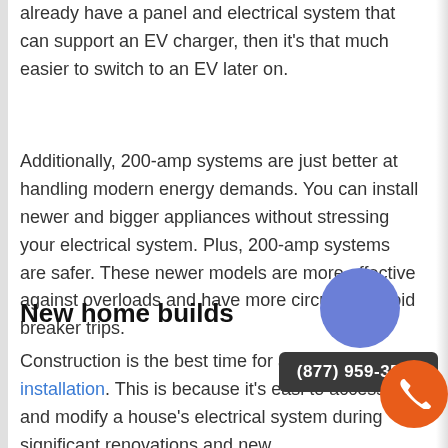already have a panel and electrical system that can support an EV charger, then it's that much easier to switch to an EV later on.
Additionally, 200-amp systems are just better at handling modern energy demands. You can install newer and bigger appliances without stressing your electrical system. Plus, 200-amp systems are safer. These newer models are more effective against overloads and have more circuits to avoid breaker trips.
New home builds
Construction is the best time for an EV charger installation. This is because it's easier to access and modify a house's electrical system during significant renovations and new